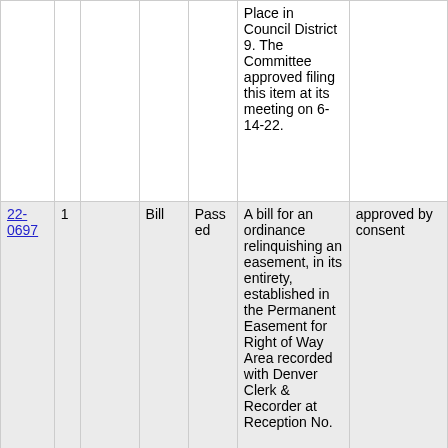|  |  |  |  |  | Place in Council District 9. The Committee approved filing this item at its meeting on 6-14-22. |  |
| 22-0697 | 1 |  | Bill | Passed | A bill for an ordinance relinquishing an easement, in its entirety, established in the Permanent Easement for Right of Way Area recorded with Denver Clerk & Recorder at Reception No. | approved by consent |